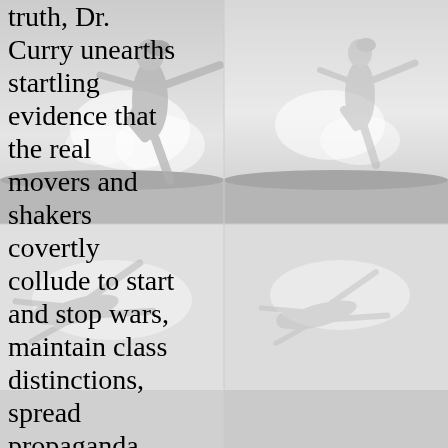[Figure (illustration): A grayscale tiled illustration showing a nude figure leaping or dancing in an outdoor setting with sky and grass, repeated in a 2x2 grid pattern across the page background.]
truth, Dr. Curry unearths startling evidence that the real movers and shakers covertly collude to start and stop wars, maintain class distinctions, spread propaganda, manipulate capitalist markets that should be free, and even censor the six o'clock news and everything that is taught in government's